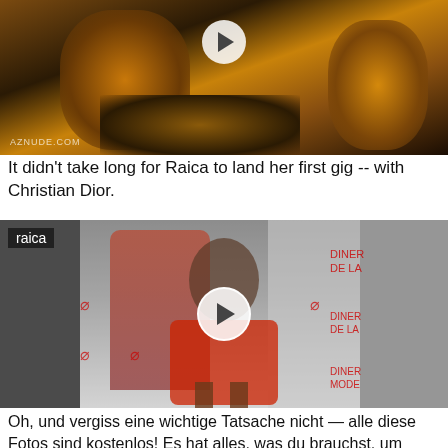[Figure (photo): Photo of a person in gold costume/outfit with play button overlay, watermark AZNUDE.COM at bottom left]
It didn't take long for Raica to land her first gig -- with Christian Dior.
[Figure (photo): Photo of a woman in a red dress at an event with DINER DE LA MODE signage in background, labeled 'raica', with play button overlay]
Oh, und vergiss eine wichtige Tatsache nicht — alle diese Fotos sind kostenlos! Es hat alles, was du brauchst, um deinen